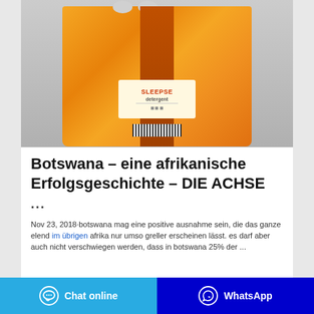[Figure (photo): Orange laundry detergent powder bag (branded 'SLEA/SE' or similar) with handles at top, shown against a light grey background. The bag has an orange body with a red central stripe, label panel, and barcode at the bottom.]
Botswana – eine afrikanische Erfolgsgeschichte – DIE ACHSE
...
Nov 23, 2018·botswana mag eine positive ausnahme sein, die das ganze elend im übrigen afrika nur umso greller erscheinen lässt. es darf aber auch nicht verschwiegen werden, dass in botswana 25% der ...
Chat online
WhatsApp